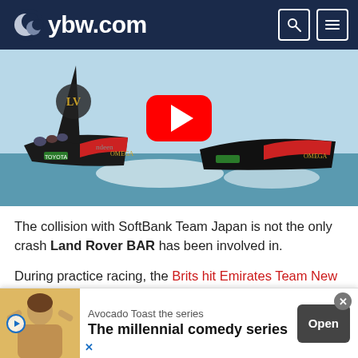ybw.com
[Figure (photo): Sailing catamarans on water with Louis Vuitton and Omega branding, with YouTube play button overlay. Shows two racing yachts (likely Emirates Team New Zealand and Land Rover BAR) hydrofoiling during America's Cup racing.]
The collision with SoftBank Team Japan is not the only crash Land Rover BAR has been involved in.
During practice racing, the Brits hit Emirates Team New Zealand, with the Kiwis coming off worse.
Emirates had to spend four days off the water fixing damage
[Figure (infographic): Advertisement banner: Avocado Toast the series - The millennial comedy series. Shows a person with hands raised, with an Open button.]